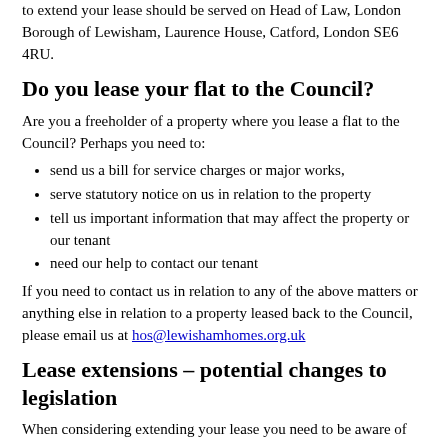to extend your lease should be served on Head of Law, London Borough of Lewisham, Laurence House, Catford, London SE6 4RU.
Do you lease your flat to the Council?
Are you a freeholder of a property where you lease a flat to the Council? Perhaps you need to:
send us a bill for service charges or major works,
serve statutory notice on us in relation to the property
tell us important information that may affect the property or our tenant
need our help to contact our tenant
If you need to contact us in relation to any of the above matters or anything else in relation to a property leased back to the Council, please email us at hos@lewishamhomes.org.uk
Lease extensions – potential changes to legislation
When considering extending your lease you need to be aware of potential changes to legislation that will likely make a significant